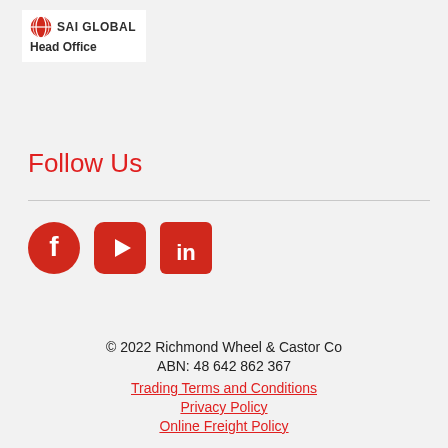[Figure (logo): SAI Global logo with globe icon and text 'SAI GLOBAL', below it 'Head Office' text]
Follow Us
[Figure (infographic): Three social media icons: Facebook (red circle with f), YouTube (red rounded rectangle with play button), LinkedIn (red square with in)]
© 2022 Richmond Wheel & Castor Co
ABN: 48 642 862 367
Trading Terms and Conditions
Privacy Policy
Online Freight Policy